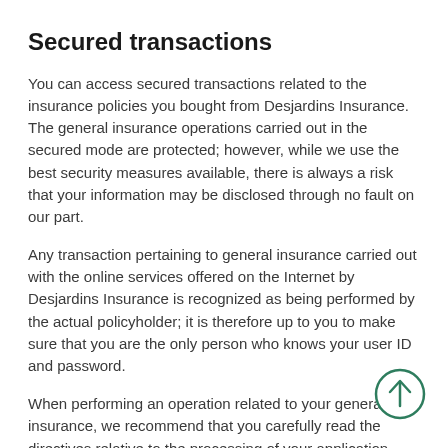Secured transactions
You can access secured transactions related to the insurance policies you bought from Desjardins Insurance. The general insurance operations carried out in the secured mode are protected; however, while we use the best security measures available, there is always a risk that your information may be disclosed through no fault on our part.
Any transaction pertaining to general insurance carried out with the online services offered on the Internet by Desjardins Insurance is recognized as being performed by the actual policyholder; it is therefore up to you to make sure that you are the only person who knows your user ID and password.
When performing an operation related to your general insurance, we recommend that you carefully read the directives relative to the processing of your application.
[Figure (other): Scroll-to-top button: a circle with an upward-pointing arrow, outlined in dark green, positioned at bottom-right corner of the page.]